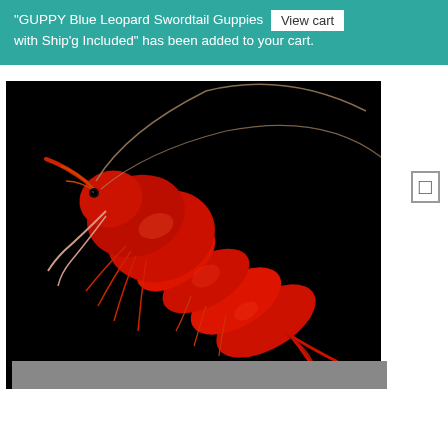"GUPPY Blue Leopard Swordtail Guppies with Ship'g Included" has been added to your cart. [View cart]
[Figure (photo): A vivid red freshwater shrimp (likely a Red Cherry Shrimp or Fire Red Shrimp) photographed against a black background. The shrimp is bright red with long antennae and legs visible.]